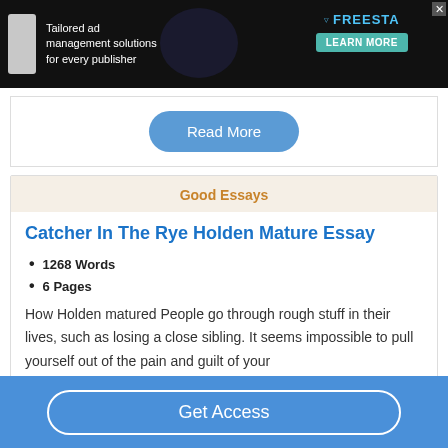[Figure (screenshot): Advertisement banner with dark background showing 'Tailored ad management solutions for every publisher', Freesta logo and 'Learn More' button]
Read More
Good Essays
Catcher In The Rye Holden Mature Essay
1268 Words
6 Pages
How Holden matured People go through rough stuff in their lives, such as losing a close sibling. It seems impossible to pull yourself out of the pain and guilt of your
Get Access